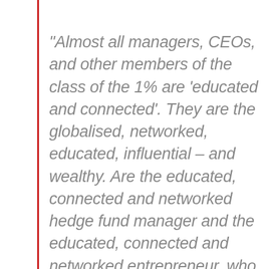“Almost all managers, CEOs, and other members of the class of the 1% are ‘educated and connected’. They are the globalised, networked, educated, influential – and wealthy. Are the educated, connected and networked hedge fund manager and the educated, connected and networked entrepreneur, who parks and